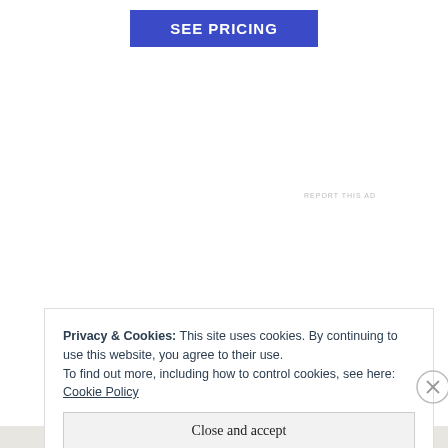[Figure (screenshot): A blue 'SEE PRICING' button centered at the top of the page]
REPORT THIS AD
Privacy & Cookies: This site uses cookies. By continuing to use this website, you agree to their use.
To find out more, including how to control cookies, see here: Cookie Policy
Close and accept
REPORT THIS AD